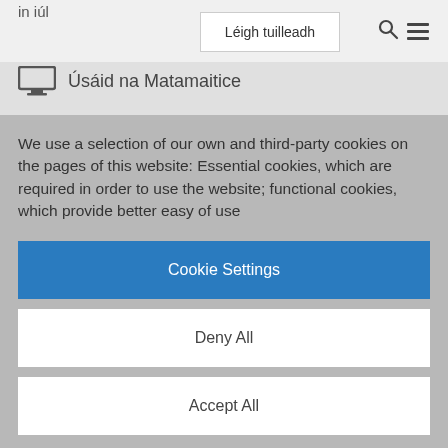in iúl
Léigh tuilleadh
Úsáid na Matamaitice
We use a selection of our own and third-party cookies on the pages of this website: Essential cookies, which are required in order to use the website; functional cookies, which provide better easy of use
Cookie Settings
Deny All
Accept All